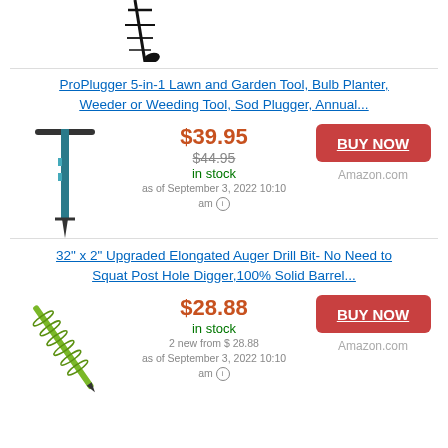[Figure (photo): Partial image of an auger drill bit from previous listing, cut off at top]
ProPlugger 5-in-1 Lawn and Garden Tool, Bulb Planter, Weeder or Weeding Tool, Sod Plugger, Annual...
$39.95
$44.95
in stock
as of September 3, 2022 10:10 am
[Figure (photo): ProPlugger tool - T-bar handle with long spike for plugging]
BUY NOW
Amazon.com
32" x 2" Upgraded Elongated Auger Drill Bit- No Need to Squat Post Hole Digger,100% Solid Barrel...
$28.88
in stock
2 new from $28.88
as of September 3, 2022 10:10 am
[Figure (photo): Green elongated auger drill bit, diagonal orientation]
BUY NOW
Amazon.com